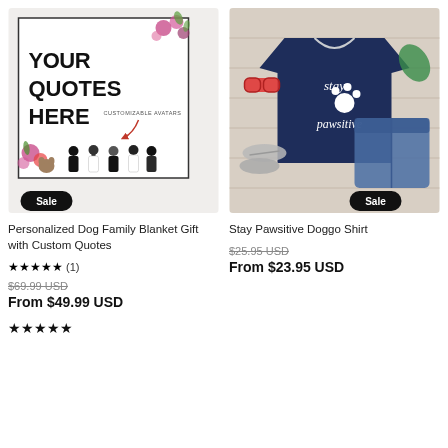[Figure (photo): Personalized Dog Family Blanket product photo with 'YOUR QUOTES HERE' text, customizable avatars, flowers, and a Sale badge]
Personalized Dog Family Blanket Gift with Custom Quotes
★★★★★ (1)
$69.99 USD
From $49.99 USD
[Figure (photo): Stay Pawsitive Doggo Shirt - navy blue t-shirt with paw print, styled with sunglasses, sandals and denim shorts, with a Sale badge]
Stay Pawsitive Doggo Shirt
$25.95 USD
From $23.95 USD